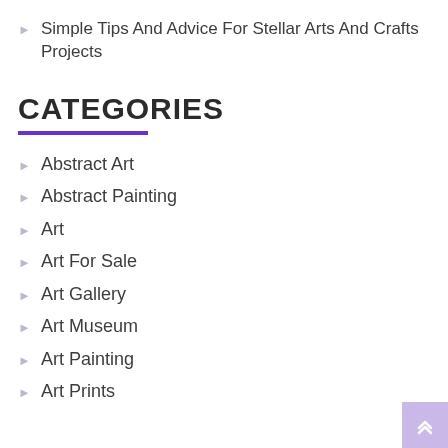Simple Tips And Advice For Stellar Arts And Crafts Projects
CATEGORIES
Abstract Art
Abstract Painting
Art
Art For Sale
Art Gallery
Art Museum
Art Painting
Art Prints